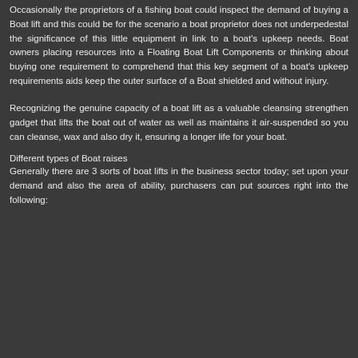Occasionally the proprietors of a fishing boat could inspect the demand of buying a Boat lift and this could be for the scenario a boat proprietor does not underpedestal the significance of this little equipment in link to a boat's upkeep needs. Boat owners placing resources into a Floating Boat Lift Components or thinking about buying one requirement to comprehend that this key segment of a boat's upkeep requirements aids keep the outer surface of a Boat shielded and without injury.
Recognizing the genuine capacity of a boat lift as a valuable cleansing strengthen gadget that lifts the boat out of water as well as maintains it air-suspended so you can cleanse, wax and also dry it, ensuring a longer life for your boat.
Different types of Boat raises
Generally there are 3 sorts of boat lifts in the business sector today; set upon your demand and also the area of ability, purchasers can put sources right into the following: